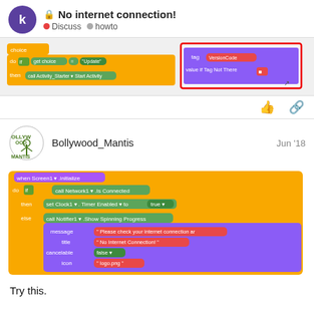No internet connection! Discuss howto
[Figure (screenshot): MIT App Inventor block code screenshot showing two code blocks: left block with choice/do/if/get choice/Update/then call Activity_Starter.Start Activity; right block with tag VersionCode and value if Tag Not There highlighted in red border]
[Figure (screenshot): MIT App Inventor block code: when Screen1.initialize, do if call Network1.Is Connected then set Clock1.Timer Enabled to true else call Notifier1.Show Spinning Progress with message Please check your internet connection, title No Internet Connection!, cancelable false, icon logo.png]
Try this.